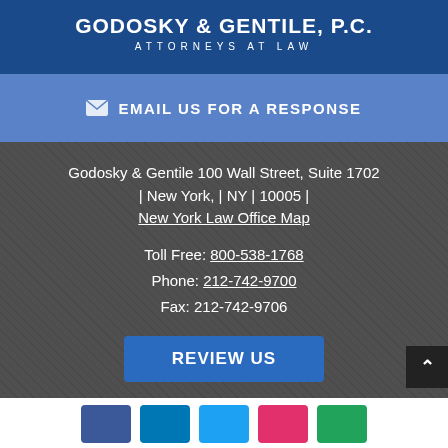GODOSKY & GENTILE, P.C. ATTORNEYS AT LAW
✉ EMAIL US FOR A RESPONSE
Godosky & Gentile 100 Wall Street, Suite 1702 | New York, | NY | 10005 | New York Law Office Map
Toll Free: 800-538-1768
Phone: 212-742-9700
Fax: 212-742-9706
REVIEW US
[Figure (illustration): Row of five social media icon buttons: Facebook (dark blue), LinkedIn (blue), Twitter (light blue), Google+/Pinterest (red/pink), YouTube/Google (green)]